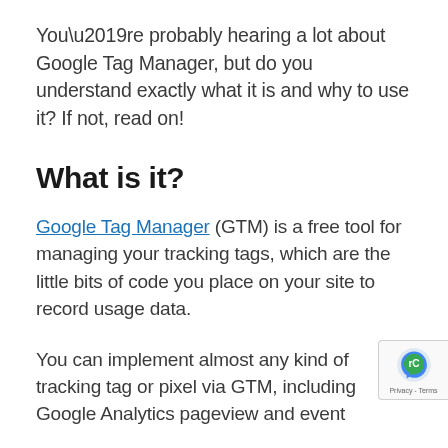You’re probably hearing a lot about Google Tag Manager, but do you understand exactly what it is and why to use it? If not, read on!
What is it?
Google Tag Manager (GTM) is a free tool for managing your tracking tags, which are the little bits of code you place on your site to record usage data.
You can implement almost any kind of tracking tag or pixel via GTM, including Google Analytics pageview and event